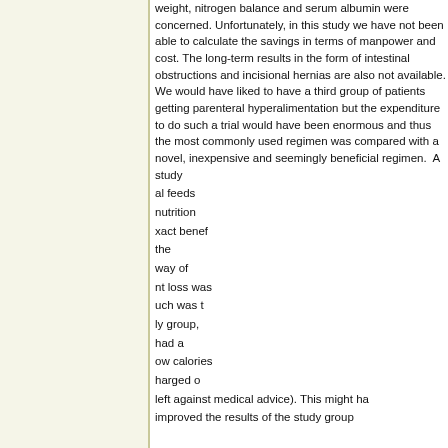weight, nitrogen balance and serum albumin were concerned. Unfortunately, in this study we have not been able to calculate the savings in terms of manpower and cost. The long-term results in the form of intestinal obstructions and incisional hernias are also not available. We would have liked to have a third group of patients getting parenteral hyperalimentation but the expenditure to do such a trial would have been enormous and thus the most commonly used regimen was compared with a novel, inexpensive and seemingly beneficial regimen. A study ...al feeds nutrition ...xact benefit the way of ...nt loss was ...uch was t... ...ly group, ...had a ...ow calorie ...charged o...
This website uses cookies. By continuing to use this website you are giving consent to cookies being used. For information on cookies and how you can disable them visit our
Privacy and Cookie Policy.
AGREE & PROCEED
left against medical advice). This might have improved the results of the study group...